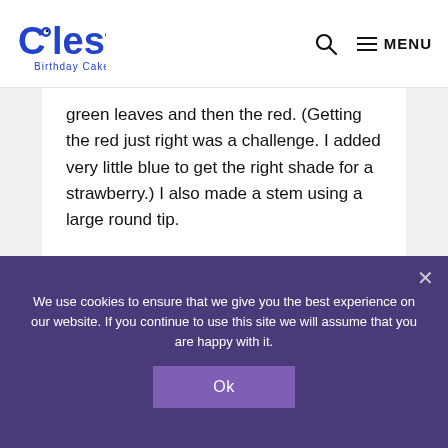Coolest Birthday Cakes — MENU
green leaves and then the red. (Getting the red just right was a challenge. I added very little blue to get the right shade for a strawberry.) I also made a stem using a large round tip.
I am not very good at making creative cakes but this one was a hit!,
Cake by Kelsey E., Oregon
We use cookies to ensure that we give you the best experience on our website. If you continue to use this site we will assume that you are happy with it.
Ok
Kaiser permanente Medical Affairs Jobs in Ashburn Apply Now